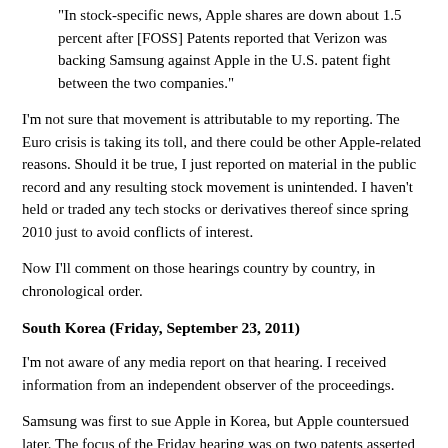"In stock-specific news, Apple shares are down about 1.5 percent after [FOSS] Patents reported that Verizon was backing Samsung against Apple in the U.S. patent fight between the two companies."
I'm not sure that movement is attributable to my reporting. The Euro crisis is taking its toll, and there could be other Apple-related reasons. Should it be true, I just reported on material in the public record and any resulting stock movement is unintended. I haven't held or traded any tech stocks or derivatives thereof since spring 2010 just to avoid conflicts of interest.
Now I'll comment on those hearings country by country, in chronological order.
South Korea (Friday, September 23, 2011)
I'm not aware of any media report on that hearing. I received information from an independent observer of the proceedings.
Samsung was first to sue Apple in Korea, but Apple countersued later. The focus of the Friday hearing was on two patents asserted in Apple's countersuit. The related Korean patent numbers end with '120 and '459:
The '120 patent is the Korean equivalent of what I called "Apple's